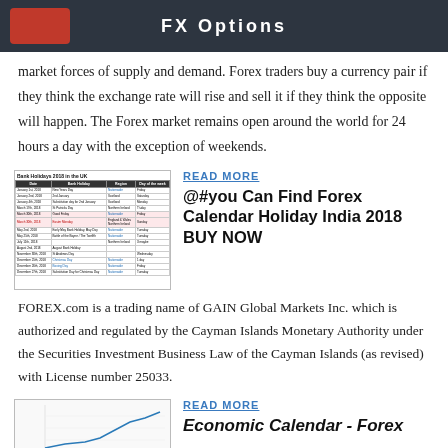FX Options
market forces of supply and demand. Forex traders buy a currency pair if they think the exchange rate will rise and sell it if they think the opposite will happen. The Forex market remains open around the world for 24 hours a day with the exception of weekends.
[Figure (table-as-image): Bank Holidays 2018 in the UK table thumbnail showing dates, bank holiday names, regions, and days of the week]
READ MORE
@#you Can Find Forex Calendar Holiday India 2018 BUY NOW
FOREX.com is a trading name of GAIN Global Markets Inc. which is authorized and regulated by the Cayman Islands Monetary Authority under the Securities Investment Business Law of the Cayman Islands (as revised) with License number 25033.
[Figure (line-chart): Exchange Rate USD to INR line chart thumbnail]
READ MORE
Economic Calendar - Forex